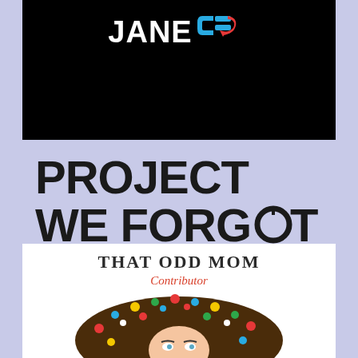[Figure (logo): Jane CJ logo — white bold 'JANE' text with a blue and red CJ graphic icon on a black background]
[Figure (logo): PROJECT WE FORGOT text logo in large bold uppercase black letters on lavender/periwinkle background, with the 'O' in FORGOT replaced by a circular arrow recycling symbol]
[Figure (logo): That Odd Mom Contributor badge — serif uppercase 'THAT ODD MOM' with red italic 'Contributor' subtitle and a photo of a woman's face surrounded by colorful candy/beads in her hair]